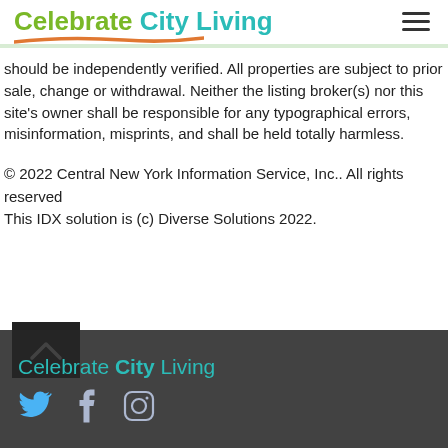Celebrate City Living
should be independently verified. All properties are subject to prior sale, change or withdrawal. Neither the listing broker(s) nor this site's owner shall be responsible for any typographical errors, misinformation, misprints, and shall be held totally harmless.
© 2022 Central New York Information Service, Inc.. All rights reserved
This IDX solution is (c) Diverse Solutions 2022.
Celebrate City Living